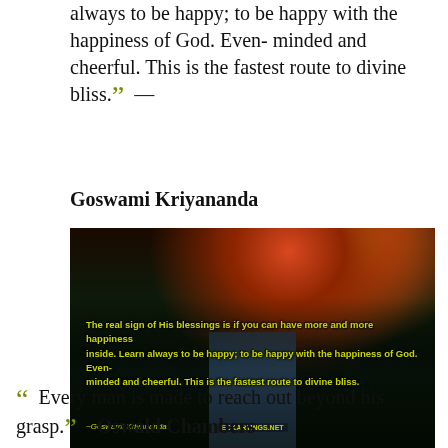always to be happy; to be happy with the happiness of God. Even- minded and cheerful. This is the fastest route to divine bliss. ” — Goswami Kriyananda
[Figure (photo): Dark atmospheric photo of a forest waterfall at dusk/night with colorful sky (orange, red, yellow hues). Overlaid yellow-green text reads: 'The real sign of His blessings is if you can have more and more happiness inside. Learn always to be happy; to be happy with the happiness of God. Even-minded and cheerful. This is the fastest route to divine bliss. ~Goswami Kriyananda' with a website URL at the bottom.]
“ Every man is made to reach out beyond his grasp. ” — Oswald Chambers